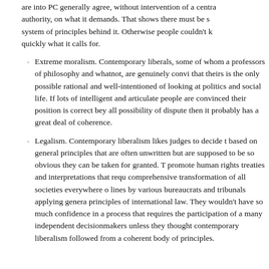are into PC generally agree, without intervention of a central authority, on what it demands. That shows there must be some system of principles behind it. Otherwise people couldn't know quickly what it calls for.
Extreme moralism. Contemporary liberals, some of whom are professors of philosophy and whatnot, are genuinely convinced that theirs is the only possible rational and well-intentioned way of looking at politics and social life. If lots of intelligent and articulate people are convinced their position is correct beyond all possibility of dispute then it probably has a great deal of coherence.
Legalism. Contemporary liberalism likes judges to decide things based on general principles that are often unwritten but are supposed to be so obvious they can be taken for granted. They promote human rights treaties and interpretations that require comprehensive transformation of all societies everywhere along lines by various bureaucrats and tribunals applying general principles of international law. They wouldn't have so much confidence in a process that requires the participation of a many independent decisionmakers unless they thought contemporary liberalism followed from a coherent body of principles.